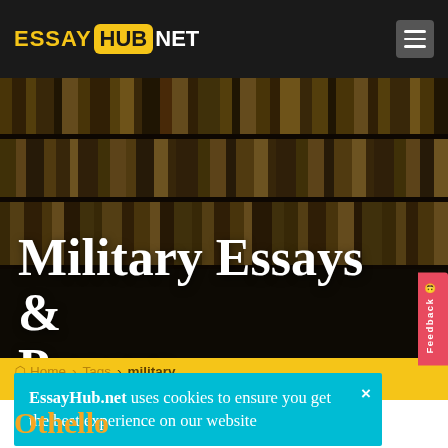ESSAY HUB NET
[Figure (photo): Dark bookshelf library background with rows of books, dimmed overlay]
Military Essays & Papers
Feedback
Home › Tags › military
EssayHub.net uses cookies to ensure you get the best experience on our website
Othello